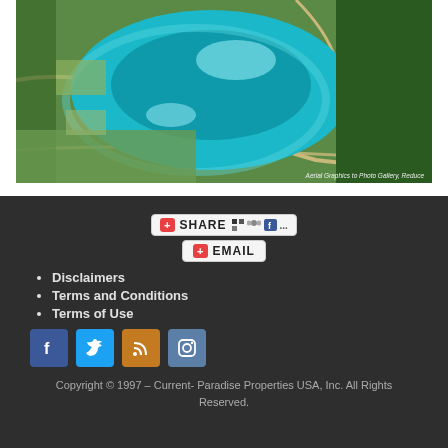[Figure (photo): Aerial photograph of a turquoise lake surrounded by green fields, trees, and roads. Watermark text visible at bottom right: 'Aerial Graphics to Photo Gallery, Reduce']
[Figure (infographic): Share and Email social sharing buttons widget with icons for various social networks including Facebook]
Disclaimers
Terms and Conditions
Terms of Use
[Figure (infographic): Social media icon buttons: Facebook (blue), Twitter (light blue), RSS (orange/gold), Instagram (blue-gray)]
Copyright © 1997 – Current- Paradise Properties USA, Inc. All Rights Reserved.